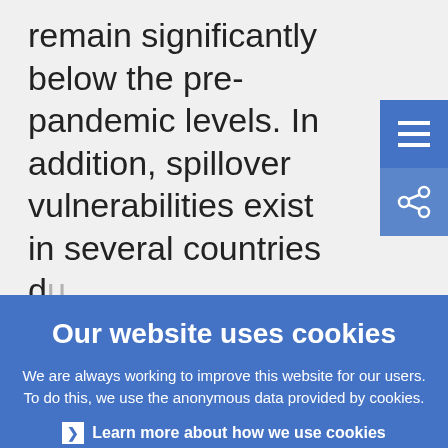remain significantly below the pre-pandemic levels. In addition, spillover vulnerabilities exist in several countries due to a tighter sovereign-corporate-bank nexus. These countries tend to have higher
Our website uses cookies
We are always working to improve this website for our users. To do this, we use the anonymous data provided by cookies.
Learn more about how we use cookies
I understand and I accept the use of cookies
I do not accept the use of cookies